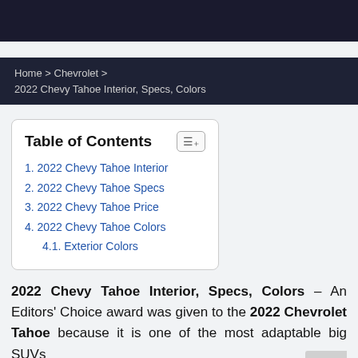Home › Chevrolet › 2022 Chevy Tahoe Interior, Specs, Colors
Table of Contents
1. 2022 Chevy Tahoe Interior
2. 2022 Chevy Tahoe Specs
3. 2022 Chevy Tahoe Price
4. 2022 Chevy Tahoe Colors
4.1. Exterior Colors
2022 Chevy Tahoe Interior, Specs, Colors – An Editors' Choice award was given to the 2022 Chevrolet Tahoe because it is one of the most adaptable big SUVs